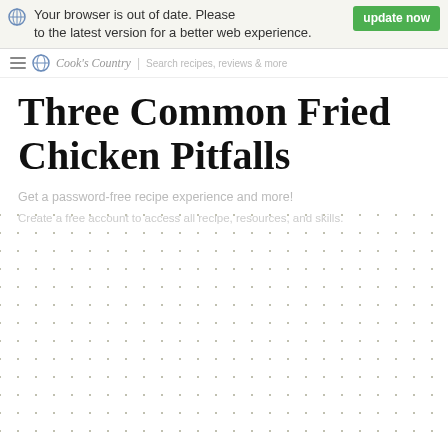Your browser is out of date. Please update now to the latest version for a better web experience.
Three Common Fried Chicken Pitfalls
Get a password-free recipe experience and more!
Create a free account to access all recipe, resources, and skills.